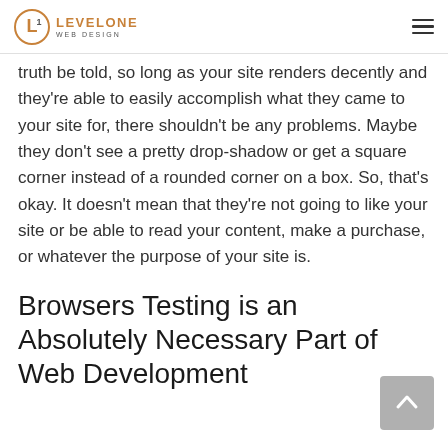LEVELONE WEB DESIGN
truth be told, so long as your site renders decently and they're able to easily accomplish what they came to your site for, there shouldn't be any problems. Maybe they don't see a pretty drop-shadow or get a square corner instead of a rounded corner on a box. So, that's okay. It doesn't mean that they're not going to like your site or be able to read your content, make a purchase, or whatever the purpose of your site is.
Browsers Testing is an Absolutely Necessary Part of Web Development